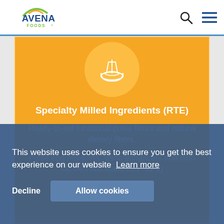[Figure (logo): Avena Foods logo with blue text and green/yellow arc above]
[Figure (illustration): White bowl with spoon icon on orange circle background]
Specialty Milled Ingredients (RTE)
Ready-to-eat functional pulse flours and natural dietary fibers.
Pulse egg replacers, visco enhancers and bind Up Pea hull fibers (D.F 50-6)
This website uses cookies to ensure you get the best experience on our website Learn more
Decline
Allow cookies